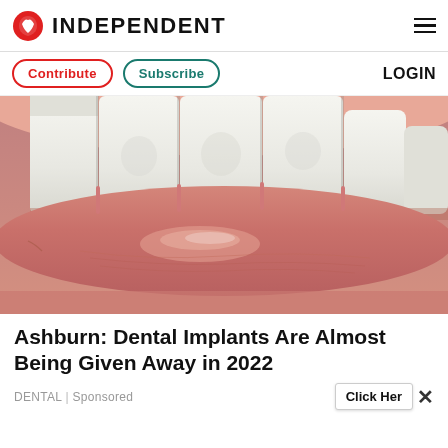INDEPENDENT
Contribute | Subscribe | LOGIN
[Figure (photo): Close-up macro photo of a person's open mouth showing white teeth and glossy pink lips, used as article header image for a dental implants advertisement.]
Ashburn: Dental Implants Are Almost Being Given Away in 2022
DENTAL | Sponsored